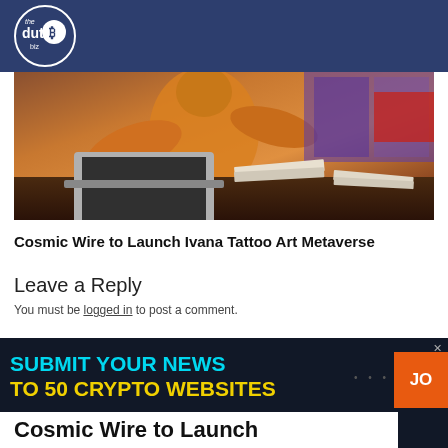the dut.B biz
[Figure (photo): Person in yellow sweater working at a desk with a laptop, notebook and papers, warm-toned photo]
Cosmic Wire to Launch Ivana Tattoo Art Metaverse
Leave a Reply
You must be logged in to post a comment.
[Figure (infographic): Dark banner advertisement: SUBMIT YOUR NEWS TO 50 CRYPTO WEBSITES with orange JOIN button and close X]
Cosmic Wire to Launch